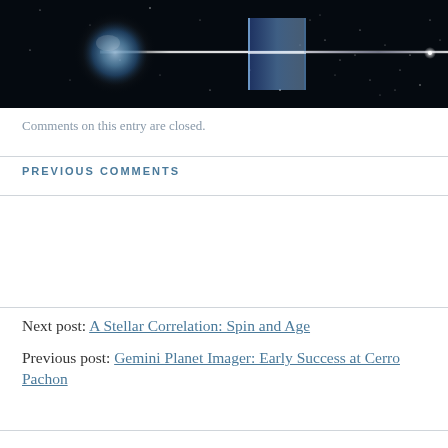[Figure (photo): Astrophysics illustration showing a dark space scene with a glowing planet/sphere on the left emitting a bright horizontal beam of light, with a rectangular prism structure in the center-right area, against a starfield background.]
Comments on this entry are closed.
PREVIOUS COMMENTS
Next post: A Stellar Correlation: Spin and Age
Previous post: Gemini Planet Imager: Early Success at Cerro Pachon